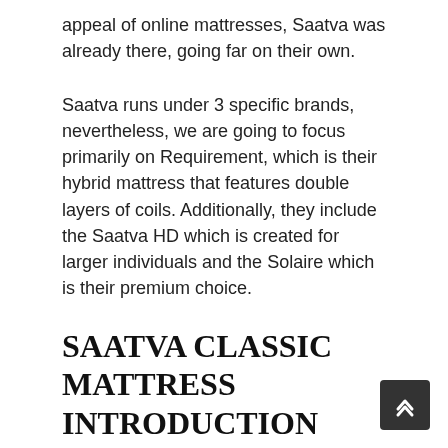appeal of online mattresses, Saatva was already there, going far on their own.
Saatva runs under 3 specific brands, nevertheless, we are going to focus primarily on Requirement, which is their hybrid mattress that features double layers of coils. Additionally, they include the Saatva HD which is created for larger individuals and the Solaire which is their premium choice.
SAATVA CLASSIC MATTRESS INTRODUCTION
We are not going to state that there is anything incorrect with conventional mattresses that your parents most likely had, as they are trustworthy if nothing else. Nevertheless, they tend to lack the convenience and luxury that is readily available